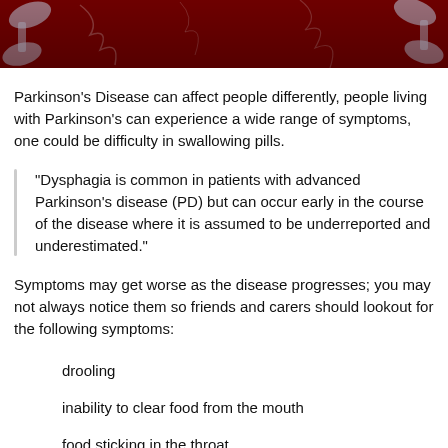[Figure (photo): Dark red/maroon background image showing skeletal or neural structures, partially visible at the top of the page]
Parkinson's Disease can affect people differently, people living with Parkinson's can experience a wide range of symptoms, one could be difficulty in swallowing pills.
"Dysphagia is common in patients with advanced Parkinson's disease (PD) but can occur early in the course of the disease where it is assumed to be underreported and underestimated."
Symptoms may get worse as the disease progresses; you may not always notice them so friends and carers should lookout for the following symptoms:
drooling
inability to clear food from the mouth
food sticking in the throat